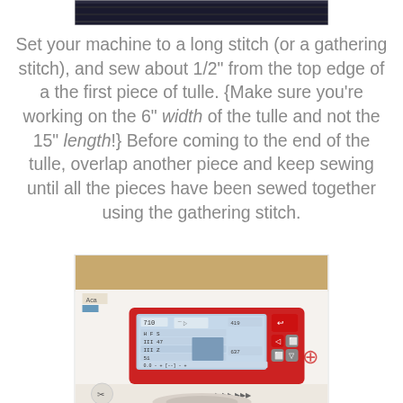[Figure (photo): Top portion of a photo showing tulle fabric, partially cropped at the top of the page]
Set your machine to a long stitch (or a gathering stitch), and sew about 1/2" from the top edge of a the first piece of tulle. {Make sure you're working on the 6" width of the tulle and not the 15" length!} Before coming to the end of the tulle, overlap another piece and keep sewing until all the pieces have been sewed together using the gathering stitch.
[Figure (photo): Close-up photo of a sewing machine's digital control panel with a red and white design, showing stitch settings on an LCD screen and various navigation buttons]